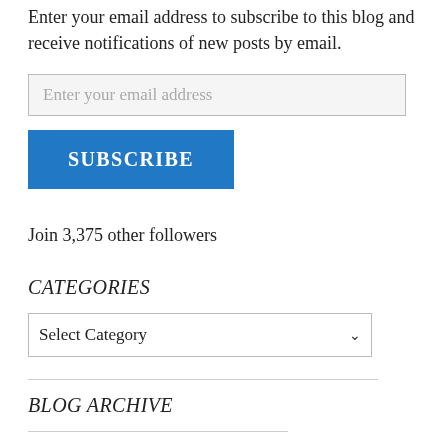Enter your email address to subscribe to this blog and receive notifications of new posts by email.
[Figure (other): Email address input field with placeholder text 'Enter your email address']
[Figure (other): Blue SUBSCRIBE button]
Join 3,375 other followers
CATEGORIES
[Figure (other): Dropdown select box with 'Select Category' and a chevron arrow]
BLOG ARCHIVE
[Figure (other): Horizontal divider line at bottom]